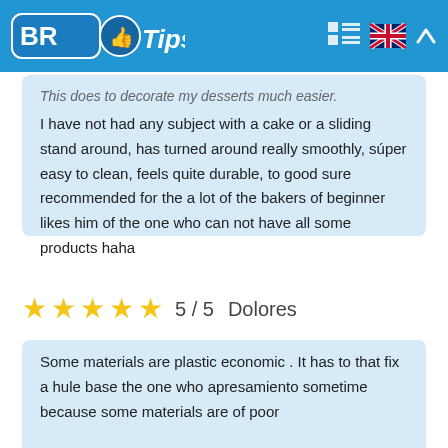BR Tips
This does to decorate my desserts much easier. I have not had any subject with a cake or a sliding stand around, has turned around really smoothly, súper easy to clean, feels quite durable, to good sure recommended for the a lot of the bakers of beginner likes him of the one who can not have all some products haha
5 / 5   Dolores
Some materials are plastic economic . It has to that fix a hule base the one who apresamiento sometime because some materials are of poor